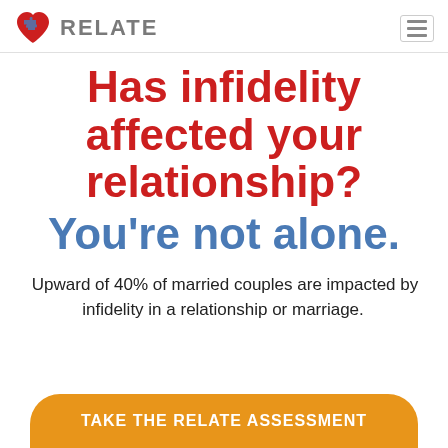RELATE
Has infidelity affected your relationship? You're not alone.
Upward of 40% of married couples are impacted by infidelity in a relationship or marriage.
TAKE THE RELATE ASSESSMENT